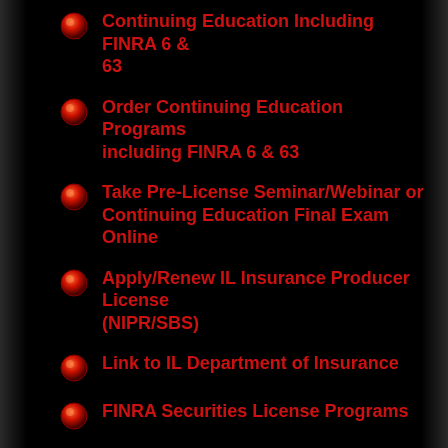Continuing Education Including FINRA 6 & 63
Order Continuing Education Programs including FINRA 6 & 63
Take Pre-License Seminar/Webinar or Continuing Education Final Exam Online
Apply/Renew IL Insurance Producer License (NIPR/SBS)
Link to IL Department of Insurance
FINRA Securities License Programs
To Order FINRA Securities License Programs
Important Current Information